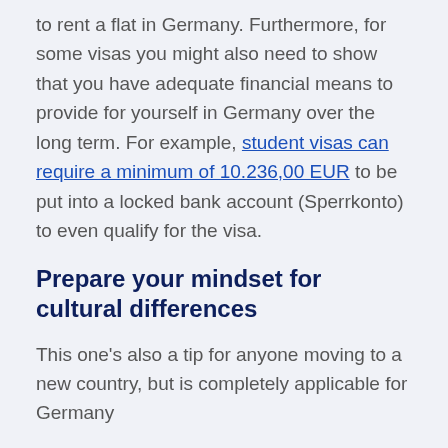to rent a flat in Germany. Furthermore, for some visas you might also need to show that you have adequate financial means to provide for yourself in Germany over the long term. For example, student visas can require a minimum of 10.236,00 EUR to be put into a locked bank account (Sperrkonto) to even qualify for the visa.
Prepare your mindset for cultural differences
This one's also a tip for anyone moving to a new country, but is completely applicable for Germany